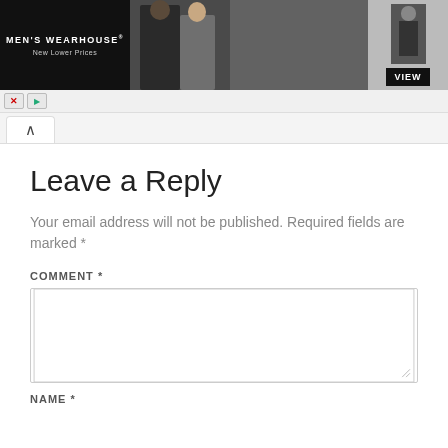[Figure (screenshot): Men's Wearhouse advertisement banner showing a couple in formal wear and a solo man in a tuxedo, with a VIEW button]
Leave a Reply
Your email address will not be published. Required fields are marked *
COMMENT *
NAME *